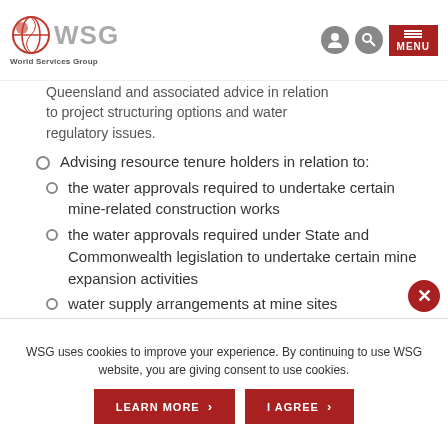WSG World Services Group — MENU
Queensland and associated advice in relation to project structuring options and water regulatory issues.
Advising resource tenure holders in relation to:
the water approvals required to undertake certain mine-related construction works
the water approvals required under State and Commonwealth legislation to undertake certain mine expansion activities
water supply arrangements at mine sites
WSG uses cookies to improve your experience. By continuing to use WSG website, you are giving consent to use cookies.